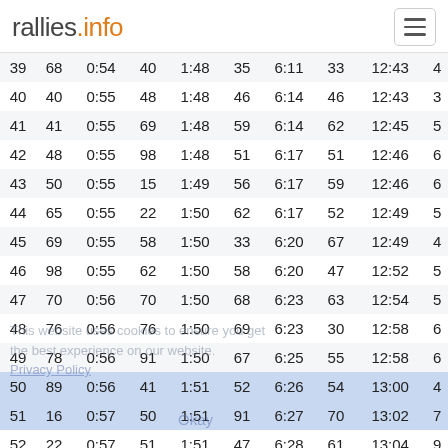rallies.info
|  |  |  |  |  |  |  |  |  |  |
| --- | --- | --- | --- | --- | --- | --- | --- | --- | --- |
| 39 | 68 | 0:54 | 40 | 1:48 | 35 | 6:11 | 33 | 12:43 | 4 |
| 40 | 40 | 0:55 | 48 | 1:48 | 46 | 6:14 | 46 | 12:43 | 3 |
| 41 | 41 | 0:55 | 69 | 1:48 | 59 | 6:14 | 62 | 12:45 | 5 |
| 42 | 48 | 0:55 | 98 | 1:48 | 51 | 6:17 | 51 | 12:46 | 6 |
| 43 | 50 | 0:55 | 15 | 1:49 | 56 | 6:17 | 59 | 12:46 | 6 |
| 44 | 65 | 0:55 | 22 | 1:50 | 62 | 6:17 | 52 | 12:49 | 5 |
| 45 | 69 | 0:55 | 58 | 1:50 | 33 | 6:20 | 67 | 12:49 | 4 |
| 46 | 98 | 0:55 | 62 | 1:50 | 58 | 6:20 | 47 | 12:52 | 5 |
| 47 | 70 | 0:56 | 70 | 1:50 | 68 | 6:23 | 63 | 12:54 | 5 |
| 48 | 76 | 0:56 | 76 | 1:50 | 69 | 6:23 | 30 | 12:58 | 6 |
| 49 | 78 | 0:56 | 91 | 1:50 | 67 | 6:25 | 55 | 12:58 | 6 |
| 50 | 89 | 0:56 | 41 | 1:51 | 52 | 6:26 | 54 | 13:00 | 4 |
| 51 | 16 | 0:57 | 50 | 1:51 | 91 | 6:27 | 70 | 13:02 | 7 |
| 52 | 22 | 0:57 | 51 | 1:51 | 47 | 6:28 | 61 | 13:04 | 9 |
| 53 | 51 | 0:57 | 65 | 1:51 | 55 | 6:28 | 49 | 13:05 |  |